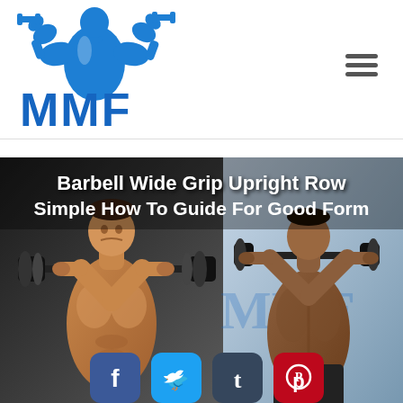[Figure (logo): MMF (Man Made Fitness) logo with blue muscular figure flexing, letters M M F in blue below]
[Figure (photo): Hero banner showing two fitness photos side by side with white overlay text reading 'Barbell Wide Grip Upright Row Simple How To Guide For Good Form', social share buttons (Facebook, Twitter, Tumblr, Pinterest) at the bottom]